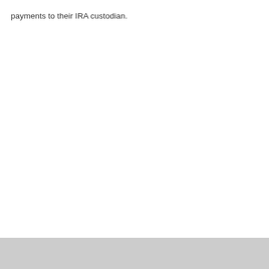payments to their IRA custodian.